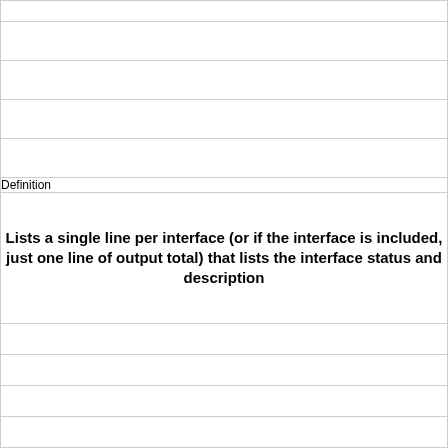|  |
|  |
|  |
|  |
|  |
| Definition |
| Lists a single line per interface (or if the interface is included,
just one line of output total) that lists the interface status and
description |
|  |
|  |
|  |
|  |
|  |
| Term |
| show ip interface brief |